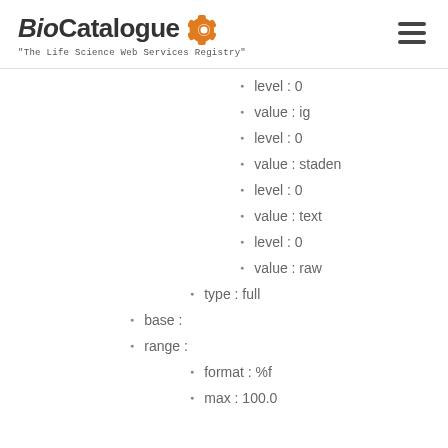BioCatalogue — The Life Science Web Services Registry
level : 0
value : ig
level : 0
value : staden
level : 0
value : text
level : 0
value : raw
type : full
base :
range :
format : %f
max : 100.0